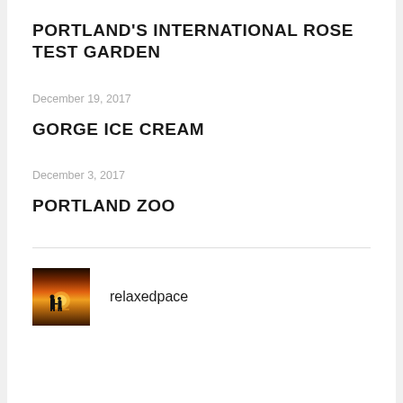PORTLAND'S INTERNATIONAL ROSE TEST GARDEN
December 19, 2017
GORGE ICE CREAM
December 3, 2017
PORTLAND ZOO
[Figure (photo): Silhouette of two people holding hands against a warm sunset sky]
relaxedpace